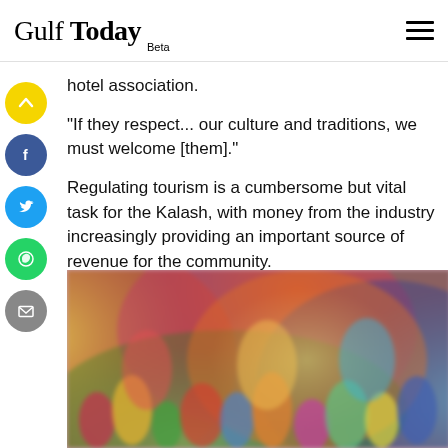Gulf Today Beta
hotel association.
"If they respect... our culture and traditions, we must welcome [them]."
Regulating tourism is a cumbersome but vital task for the Kalash, with money from the industry increasingly providing an important source of revenue for the community.
[Figure (photo): Colorful crowd of people in traditional Kalash clothing, motion-blurred, vibrant colors including yellow, red, green, blue, and pink garments.]